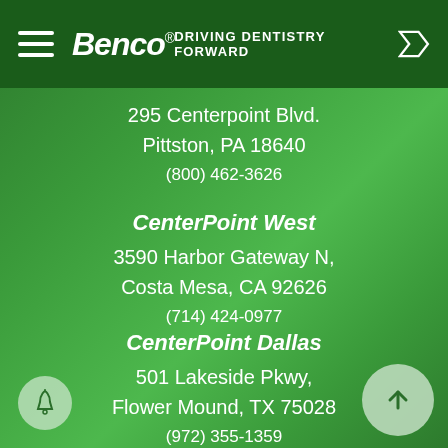Benco® — DRIVING DENTISTRY FORWARD
295 Centerpoint Blvd.
Pittston, PA 18640
(800) 462-3626
CenterPoint West
3590 Harbor Gateway N,
Costa Mesa, CA 92626
(714) 424-0977
CenterPoint Dallas
501 Lakeside Pkwy,
Flower Mound, TX 75028
(972) 355-1359